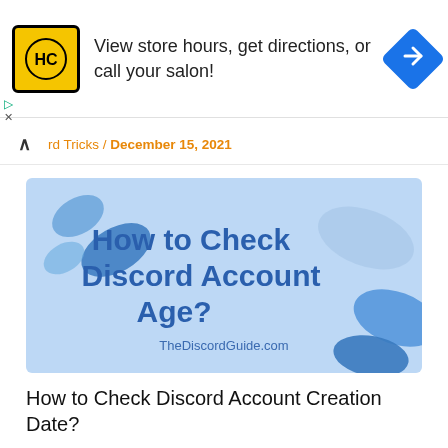[Figure (screenshot): Advertisement banner with HC salon logo (yellow square with HC letters), text 'View store hours, get directions, or call your salon!', and a blue navigation arrow icon on the right.]
rd Tricks / December 15, 2021
[Figure (illustration): Featured article image with light blue background and blue decorative shapes. Bold blue text reads 'How to Check Discord Account Age?' with 'TheDiscordGuide.com' below.]
How to Check Discord Account Creation Date?